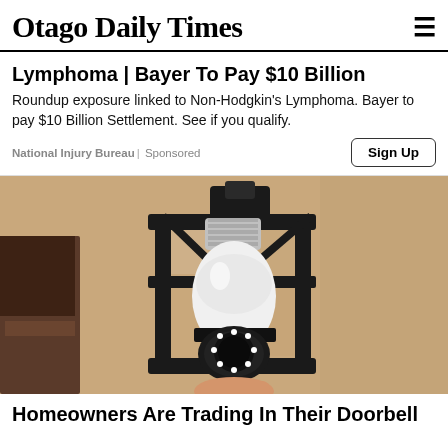Otago Daily Times
Lymphoma | Bayer To Pay $10 Billion
Roundup exposure linked to Non-Hodgkin's Lymphoma. Bayer to pay $10 Billion Settlement. See if you qualify.
National Injury Bureau | Sponsored
[Figure (photo): A light bulb security camera being installed into a black outdoor lantern fixture mounted on a textured beige stucco wall. The bulb-shaped camera has a circular lens with LED ring at the bottom.]
Homeowners Are Trading In Their Doorbell